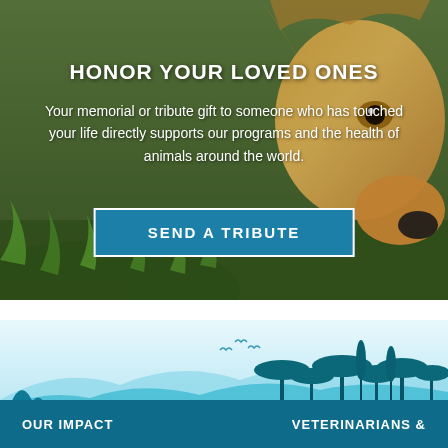[Figure (photo): Hero image of a dog (golden/tan colored dog face close-up) lying in green grass, with a semi-transparent dark overlay. Serves as background for memorial tribute section.]
HONOR YOUR LOVED ONES
Your memorial or tribute gift to someone who has touched your life directly supports our programs and the health of animals around the world.
SEND A TRIBUTE
[Figure (illustration): Blue and teal nature silhouette banner showing trees, hills, mountains, birds in flight, and animal silhouettes (deer/horse) in a layered landscape panorama.]
OUR IMPACT
VETERINARIANS &